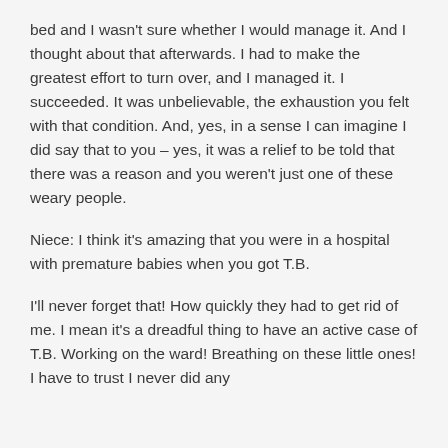bed and I wasn't sure whether I would manage it. And I thought about that afterwards. I had to make the greatest effort to turn over, and I managed it. I succeeded. It was unbelievable, the exhaustion you felt with that condition. And, yes, in a sense I can imagine I did say that to you – yes, it was a relief to be told that there was a reason and you weren't just one of these weary people.
Niece: I think it's amazing that you were in a hospital with premature babies when you got T.B.
I'll never forget that! How quickly they had to get rid of me. I mean it's a dreadful thing to have an active case of T.B. Working on the ward! Breathing on these little ones! I have to trust I never did any